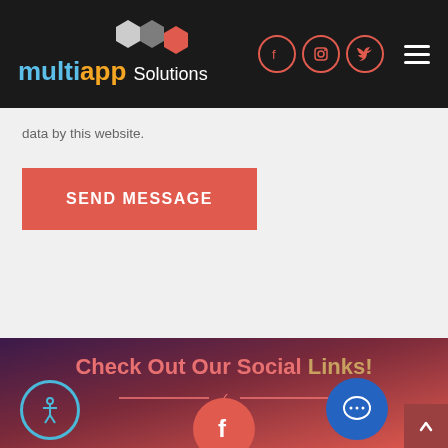[Figure (logo): MultiApp Solutions logo with hexagon icons on dark header bar with social media icons (Facebook, Instagram, Twitter) and hamburger menu]
data by this website.
SEND MESSAGE
Check Out Our Social Links!
[Figure (illustration): Footer section with gradient background from dark purple to coral red, showing 'Check Out Our Social Links!' heading, divider with chevron, accessibility button, chat button, scroll-to-top button, and partial Facebook circle icon at bottom]